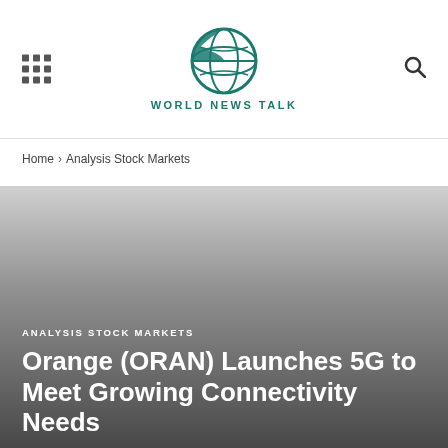WORLD NEWS TALK
Home › Analysis Stock Markets
[Figure (photo): Hero image with dark gradient background transitioning from light gray at top to dark gray at bottom]
ANALYSIS STOCK MARKETS
Orange (ORAN) Launches 5G to Meet Growing Connectivity Needs